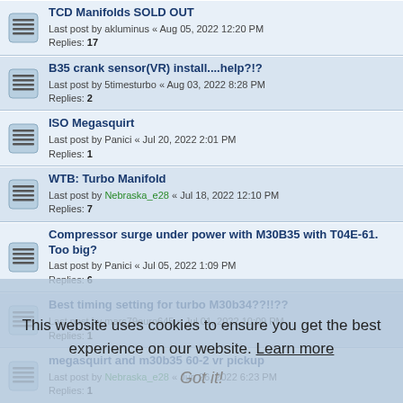TCD Manifolds SOLD OUT — Last post by akluminus « Aug 05, 2022 12:20 PM — Replies: 17
B35 crank sensor(VR) install....help?!? — Last post by 5timesturbo « Aug 03, 2022 8:28 PM — Replies: 2
ISO Megasquirt — Last post by Panici « Jul 20, 2022 2:01 PM — Replies: 1
WTB: Turbo Manifold — Last post by Nebraska_e28 « Jul 18, 2022 12:10 PM — Replies: 7
Compressor surge under power with M30B35 with T04E-61. Too big? — Last post by Panici « Jul 05, 2022 1:09 PM — Replies: 6
Best timing setting for turbo M30b34??!!?? — Last post by marc79euro645 « Jul 01, 2022 10:09 PM — Replies: 1
megasquirt and m30b35 60-2 vr pickup — Last post by Nebraska_e28 « Jun 26, 2022 6:23 PM — Replies: 1
New m30 Turbo Manifold on the market! — Last post by ZINNO_B « Jun 10, 2022 3:57 PM — Replies: 8
666 Turbo Manifold (other tubular options?) — Last post by Nebraska_e28 « May 30, 2022 12:36 PM — Replies: 10
This website uses cookies to ensure you get the best experience on our website. Learn more — Got it!